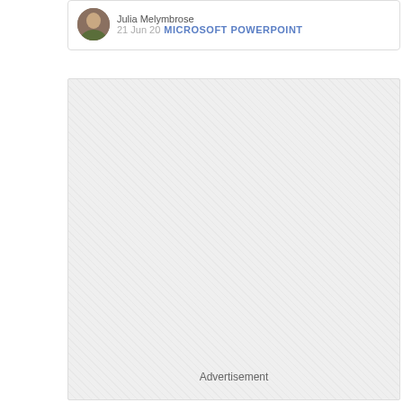Julia Melymbrose
21 Jun 20  MICROSOFT POWERPOINT
[Figure (other): Advertisement placeholder box with diagonal hatching pattern and 'Advertisement' label at the bottom]